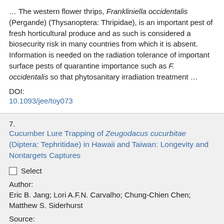… The western flower thrips, Frankliniella occidentalis (Pergande) (Thysanoptera: Thripidae), is an important pest of fresh horticultural produce and as such is considered a biosecurity risk in many countries from which it is absent. Information is needed on the radiation tolerance of important surface pests of quarantine importance such as F. occidentalis so that phytosanitary irradiation treatment …
DOI:
10.1093/jee/toy073
7. Cucumber Lure Trapping of Zeugodacus cucurbitae (Diptera: Tephritidae) in Hawaii and Taiwan: Longevity and Nontargets Captures
Select
Author:
Eric B. Jang; Lori A.F.N. Carvalho; Chung-Chien Chen; Matthew S. Siderhurst
Source: